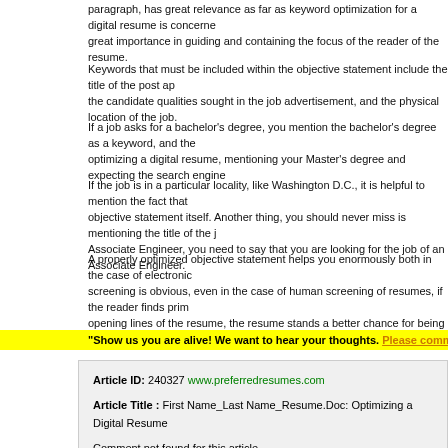paragraph, has great relevance as far as keyword optimization for a digital resume is concerned. great importance in guiding and containing the focus of the reader of the resume.
Keywords that must be included within the objective statement include the title of the post applied for, the candidate qualities sought in the job advertisement, and the physical location of the job.
If a job asks for a bachelor's degree, you mention the bachelor's degree as a keyword, and then optimizing a digital resume, mentioning your Master's degree and expecting the search engine
If the job is in a particular locality, like Washington D.C., it is helpful to mention the fact that objective statement itself. Another thing, you should never miss is mentioning the title of the job. Associate Engineer, you need to say that you are looking for the job of an Associate Engineer.
A properly optimized objective statement helps you enormously both in the case of electronic screening is obvious, even in the case of human screening of resumes, if the reader finds prime opening lines of the resume, the resume stands a better chance for being shortlisted.
"Show us you are alive! We want to hear your thoughts. Please comment on this article (
| Field | Value |
| --- | --- |
| Article ID: | 240327 www.preferredresumes.com |
| Article Title : | First Name_Last Name_Resume.Doc: Optimizing a Digital Resume |
|  | Comment not found for this article...... |
Comment not found for this article......